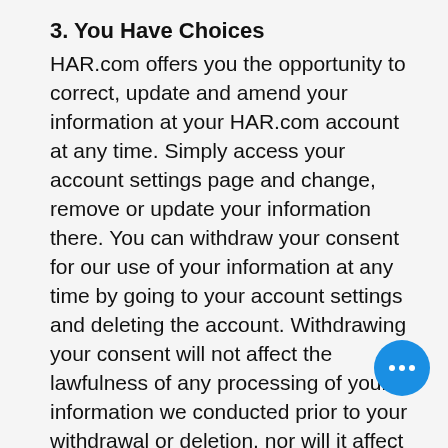3. You Have Choices
HAR.com offers you the opportunity to correct, update and amend your information at your HAR.com account at any time. Simply access your account settings page and change, remove or update your information there. You can withdraw your consent for our use of your information at any time by going to your account settings and deleting the account. Withdrawing your consent will not affect the lawfulness of any processing of your information we conducted prior to your withdrawal or deletion, nor will it affect processing of information conducted in reliance on lawful processing grounds other than consent. If you have...